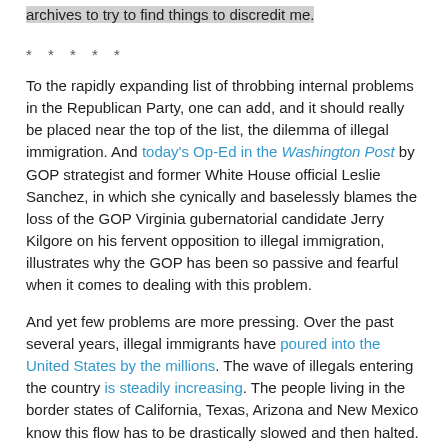archives to try to find things to discredit me.
* * * * *
To the rapidly expanding list of throbbing internal problems in the Republican Party, one can add, and it should really be placed near the top of the list, the dilemma of illegal immigration. And today's Op-Ed in the Washington Post by GOP strategist and former White House official Leslie Sanchez, in which she cynically and baselessly blames the loss of the GOP Virginia gubernatorial candidate Jerry Kilgore on his fervent opposition to illegal immigration, illustrates why the GOP has been so passive and fearful when it comes to dealing with this problem.
And yet few problems are more pressing. Over the past several years, illegal immigrants have poured into the United States by the millions. The wave of illegals entering the country is steadily increasing. The people living in the border states of California, Texas, Arizona and New Mexico know this flow has to be drastically slowed and then halted. The